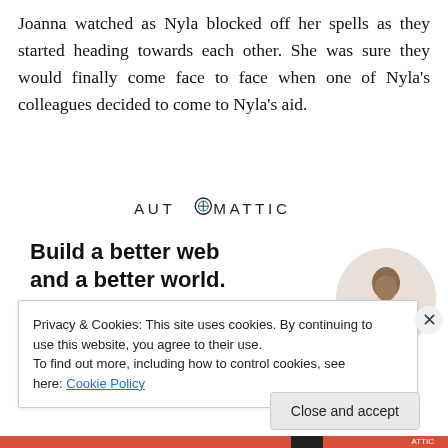Joanna watched as Nyla blocked off her spells as they started heading towards each other. She was sure they would finally come face to face when one of Nyla's colleagues decided to come to Nyla's aid.
[Figure (logo): Automattic company logo in uppercase letters with a compass/target icon inside the letter O]
[Figure (infographic): Automattic job advertisement: 'Build a better web and a better world.' with an Apply button and a photo of a man in a circle]
Privacy & Cookies: This site uses cookies. By continuing to use this website, you agree to their use.
To find out more, including how to control cookies, see here: Cookie Policy
Close and accept